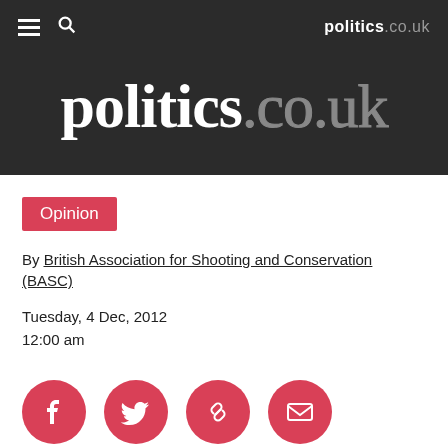politics.co.uk
[Figure (logo): politics.co.uk large logo on dark background]
Opinion
By British Association for Shooting and Conservation (BASC)
Tuesday, 4 Dec, 2012
12:00 am
[Figure (infographic): Social share icons: Facebook, Twitter, Link, Email — red circular buttons]